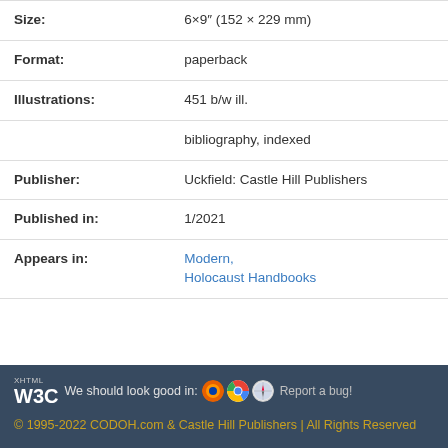| Size: | 6×9″ (152 × 229 mm) |
| Format: | paperback |
| Illustrations: | 451 b/w ill. |
|  | bibliography, indexed |
| Publisher: | Uckfield: Castle Hill Publishers |
| Published in: | 1/2021 |
| Appears in: | Modern,
Holocaust Handbooks |
W3C XHTML We should look good in: [Firefox] [Chrome] [Safari] Report a bug!
© 1995-2022 CODOH.com & Castle Hill Publishers | All Rights Reserved